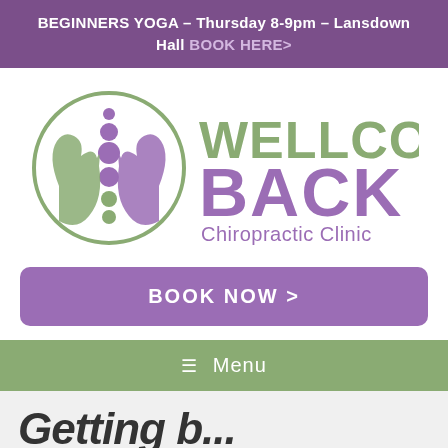BEGINNERS YOGA – Thursday 8-9pm – Lansdown Hall BOOK HERE>
[Figure (logo): Wellcome Back Chiropractic Clinic logo with circular spine/hands emblem in green and purple]
BOOK NOW >
≡ Menu
Getting b...